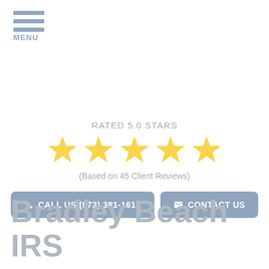[Figure (other): Hamburger menu icon with three horizontal bars and MENU label below]
RATED 5.0 STARS
[Figure (other): Five golden star rating icons in a row]
(Based on 45 Client Reviews)
CALL US (973) 381-1616
CONTACT US
Bradley Beach IRS